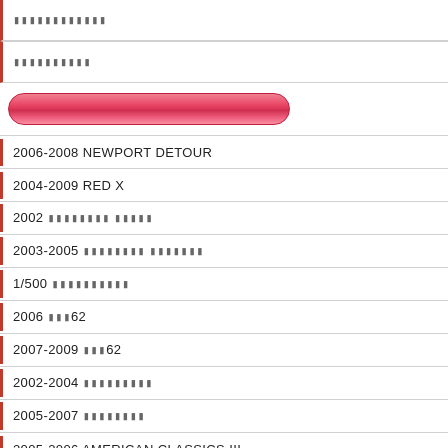[garbled text]
[garbled text]
[Figure (other): Pink/red rounded search button]
2006-2008 NEWPORT DETOUR
2004-2009 RED X
2002 [garbled] [garbled]
2003-2005 [garbled] [garbled]
1/500 [garbled]
2006 [garbled]62
2007-2009 [garbled]62
2002-2004 [garbled]
2005-2007 [garbled]
2005-2006 AMERICAN CLASSICS III
1999 PRO PLATINUM
2000-2002 PRO PLATINUM